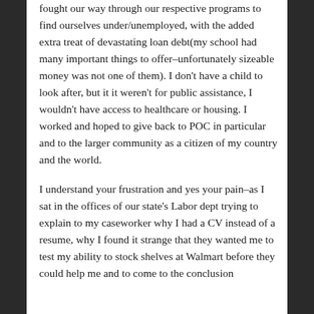fought our way through our respective programs to find ourselves under/unemployed, with the added extra treat of devastating loan debt(my school had many important things to offer–unfortunately sizeable money was not one of them). I don't have a child to look after, but it it weren't for public assistance, I wouldn't have access to healthcare or housing. I worked and hoped to give back to POC in particular and to the larger community as a citizen of my country and the world.
I understand your frustration and yes your pain–as I sat in the offices of our state's Labor dept trying to explain to my caseworker why I had a CV instead of a resume, why I found it strange that they wanted me to test my ability to stock shelves at Walmart before they could help me and to come to the conclusion